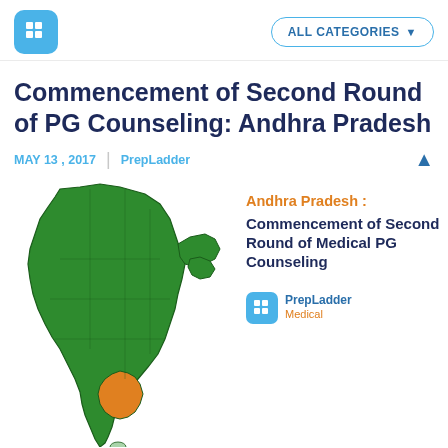PrepLadder logo | ALL CATEGORIES
Commencement of Second Round of PG Counseling: Andhra Pradesh
MAY 13 , 2017 | PrepLadder
[Figure (map): Map of India with Andhra Pradesh highlighted in orange and remaining states in green. Beside the map: 'Andhra Pradesh: Commencement of Second Round of Medical PG Counseling' with PrepLadder Medical logo.]